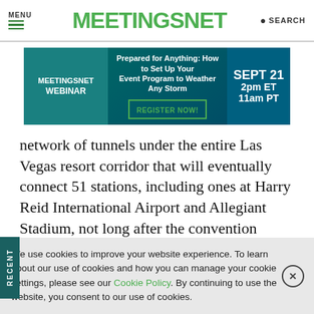MENU  MEETINGSNET  SEARCH
[Figure (infographic): MeetingsNet Webinar advertisement banner: 'Prepared for Anything: How to Set Up Your Event Program to Weather Any Storm' SEPT 21 2pm ET 11am PT REGISTER NOW!]
network of tunnels under the entire Las Vegas resort corridor that will eventually connect 51 stations, including ones at Harry Reid International Airport and Allegiant Stadium, not long after the convention center finishes its latest project.
0 COMMENTS
We use cookies to improve your website experience. To learn about our use of cookies and how you can manage your cookie settings, please see our Cookie Policy. By continuing to use the website, you consent to our use of cookies.